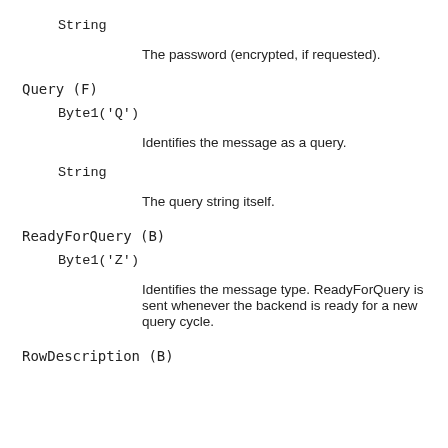String
The password (encrypted, if requested).
Query (F)
Byte1('Q')
Identifies the message as a query.
String
The query string itself.
ReadyForQuery (B)
Byte1('Z')
Identifies the message type. ReadyForQuery is sent whenever the backend is ready for a new query cycle.
RowDescription (B)